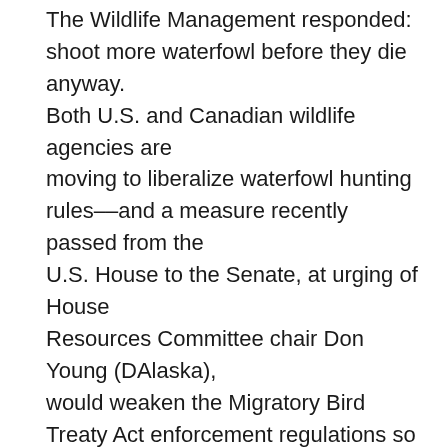The Wildlife Management responded: shoot more waterfowl before they die anyway. Both U.S. and Canadian wildlife agencies are moving to liberalize waterfowl hunting rules––and a measure recently passed from the U.S. House to the Senate, at urging of House Resources Committee chair Don Young (DAlaska), would weaken the Migratory Bird Treaty Act enforcement regulations so severely that the prohibition on hunting over a baited field might be rendered moot: to win a conviction, game wardens would have to be able to prove that hunters knew the field had been baited. Unless a warden happens to catch a hunter in the act of baiting, that's unlikely. Keeping bird conservationists quiet, Young is also author of a House bill, paralleling the Neotropical Migratory Bird